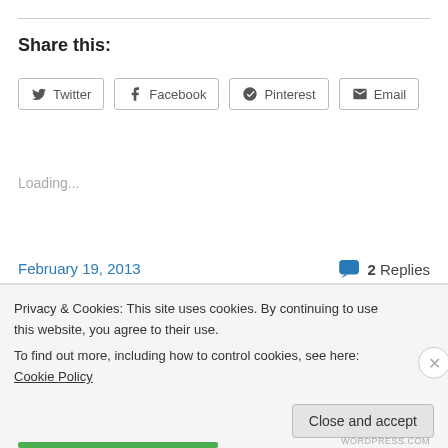Share this:
Twitter
Facebook
Pinterest
Email
Loading...
February 19, 2013
2 Replies
Privacy & Cookies: This site uses cookies. By continuing to use this website, you agree to their use. To find out more, including how to control cookies, see here: Cookie Policy
Close and accept